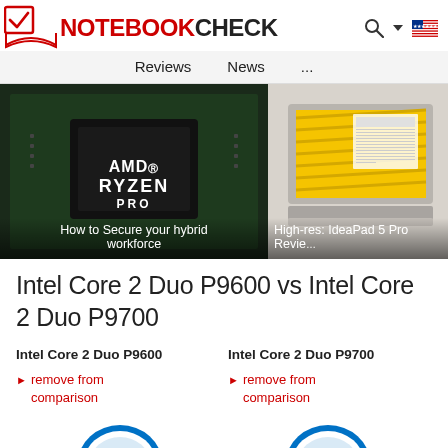NOTEBOOKCHECK
Reviews  News  ...
[Figure (photo): AMD Ryzen Pro chip close-up photo with caption 'How to Secure your hybrid workforce']
[Figure (photo): Lenovo IdeaPad 5 Pro laptop with yellow wallpaper, partially visible, caption 'High-res: IdeaPad 5 Pro Review']
Intel Core 2 Duo P9600 vs Intel Core 2 Duo P9700
Intel Core 2 Duo P9600
Intel Core 2 Duo P9700
remove from comparison
remove from comparison